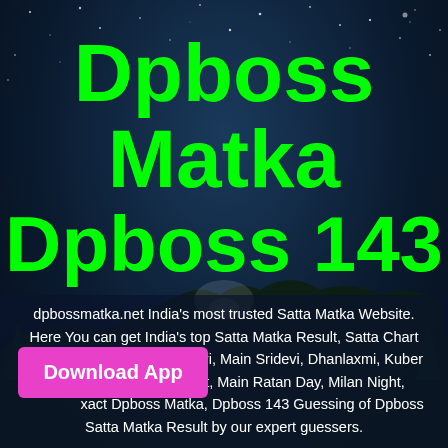[Figure (illustration): Dark night sky background with stars and silhouette of trees/landscape at bottom]
Dpboss Matka Dpboss 143
dpbossmatka.net India's most trusted Satta Matka Website. Here You can get India's top Satta Matka Result, Satta Chart updated Results like Madhuri, Main Sridevi, Dhanlaxmi, Kuber Balaji, Dedicate night, Main Ratan Day, Milan Night, Exact Dpboss Matka, Dpboss 143 Guessing of Dpboss Satta Matka Result by our expert guessers.
Download App